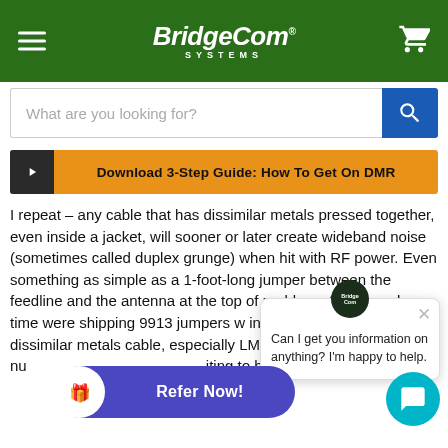BridgeCom Systems
[Figure (screenshot): Search bar with placeholder text 'What are you looking for?' and blue search button]
[Figure (screenshot): Orange download banner: 'Download 3-Step Guide: How To Get On DMR']
I repeat – any cable that has dissimilar metals pressed together, even inside a jacket, will sooner or later create wideband noise (sometimes called duplex grunge) when hit with RF power. Even something as simple as a 1-foot-long jumper between the feedline and the antenna at the top of problems (and for a long time were shipping 9913 jumpers w indoor simplex environment, dissimilar metals cable, especially LMR-(any 3-digit or 4-digit nu iting to happen on a duplex sys
[Figure (screenshot): Chat popup with BridgeCom logo and message: 'Can I get you information on anything? I'm happy to help.']
[Figure (screenshot): Purple 'Refer Now!' button with gift icon, and teal chat widget button]